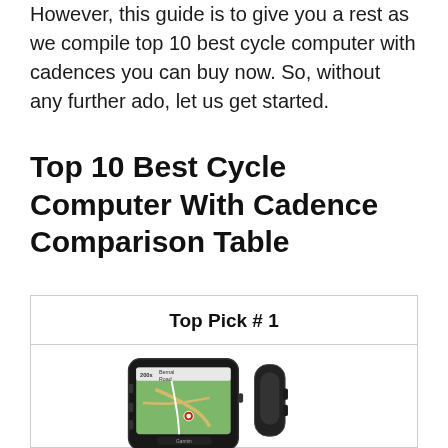However, this guide is to give you a rest as we compile top 10 best cycle computer with cadences you can buy now. So, without any further ado, let us get started.
Top 10 Best Cycle Computer With Cadence Comparison Table
Top Pick # 1
[Figure (photo): Product photo of a Garmin cycle computer bundle showing the GPS device with map display, a case/mount, and accessories including a smaller device, cable, and other components.]